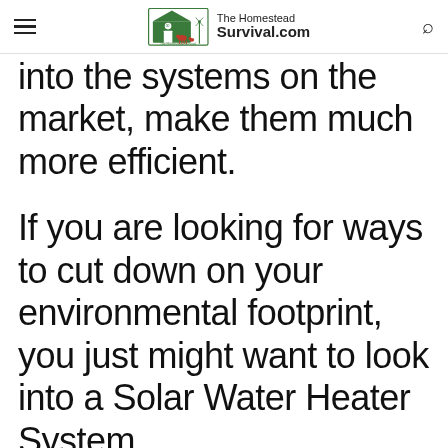The Homestead Survival.com
into the systems on the market, make them much more efficient.
If you are looking for ways to cut down on your environmental footprint, you just might want to look into a Solar Water Heater System.